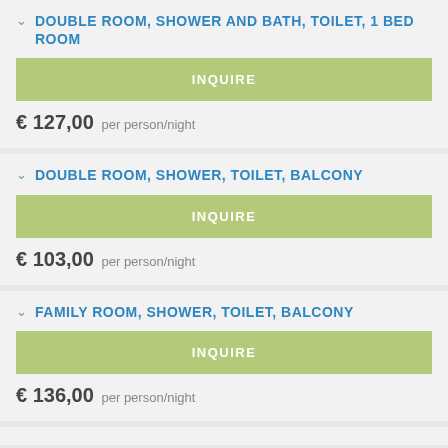DOUBLE ROOM, SHOWER AND BATH, TOILET, 1 BED ROOM
INQUIRE
€ 127,00 per person/night
DOUBLE ROOM, SHOWER, TOILET, BALCONY
INQUIRE
€ 103,00 per person/night
FAMILY ROOM, SHOWER, TOILET, BALCONY
INQUIRE
€ 136,00 per person/night